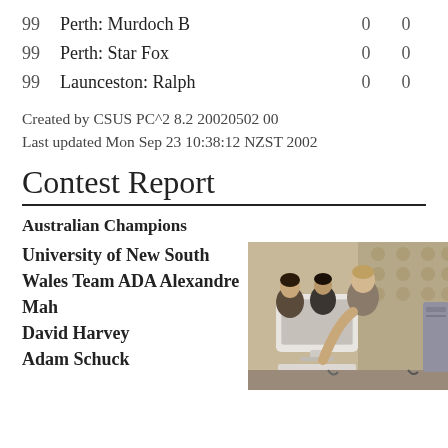| # | Team | Score1 | Score2 |
| --- | --- | --- | --- |
| 99 | Perth: Murdoch B | 0 | 0 |
| 99 | Perth: Star Fox | 0 | 0 |
| 99 | Launceston: Ralph | 0 | 0 |
Created by CSUS PC^2 8.2 20020502 00
Last updated Mon Sep 23 10:38:12 NZST 2002
Contest Report
Australian Champions
University of New South Wales Team ADA Alexandre Mah
David Harvey
Adam Schuck
[Figure (photo): Three young men working at a computer workstation, one pointing at a monitor screen.]